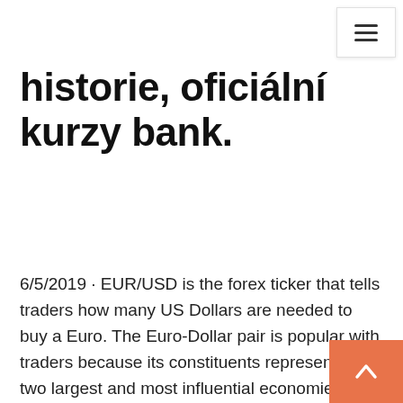historie, oficiální kurzy bank.
6/5/2019 · EUR/USD is the forex ticker that tells traders how many US Dollars are needed to buy a Euro. The Euro-Dollar pair is popular with traders because its constituents represent the two largest and most influential economies in the world. Follow real-time EUR/USD rates and improve your technical analysis with the interactive chart. Статьи по рынку Forex FOREX - это интересная тема, изучать которую можно бесконечно, и вы можете найти в Интернете массу посвященных ему сайтов и материалов. 8/18/2019 · forex hkd to php forex history forex hours forex hedging forex how it works forex euro to php forex exchange investment forex eship forex exchange meaning This forex chart for Euro / Pound Sterling (British Pound) (EURGBP) is updated continuously during market hours. The EURGBP currency charts are available in bar chart